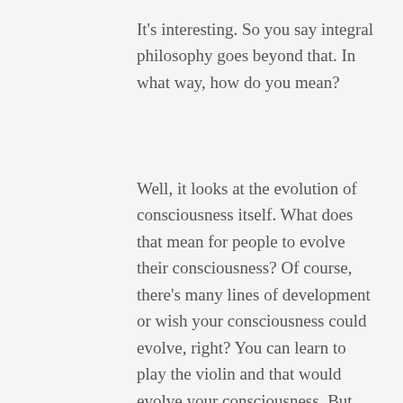It's interesting. So you say integral philosophy goes beyond that. In what way, how do you mean?
Well, it looks at the evolution of consciousness itself. What does that mean for people to evolve their consciousness? Of course, there's many lines of development or wish your consciousness could evolve, right? You can learn to play the violin and that would evolve your consciousness. But we also recognise that human history is evolving and what's more evolved doesn't mean that it's absolutely better in every way but we can certainly see lines of development by which humanity is advancing by which we can claim that these